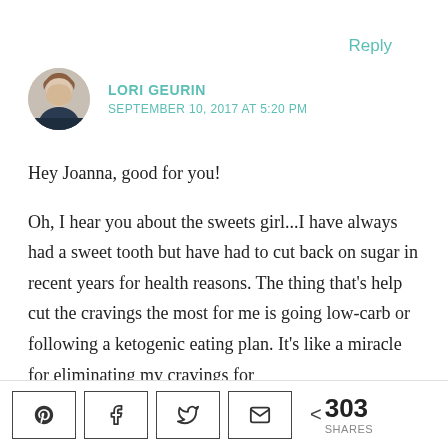Reply
LORI GEURIN
SEPTEMBER 10, 2017 AT 5:20 PM
Hey Joanna, good for you!

Oh, I hear you about the sweets girl...I have always had a sweet tooth but have had to cut back on sugar in recent years for health reasons. The thing that’s help cut the cravings the most for me is going low-carb or following a ketogenic eating plan. It’s like a miracle for eliminating my cravings for
< 303 SHARES